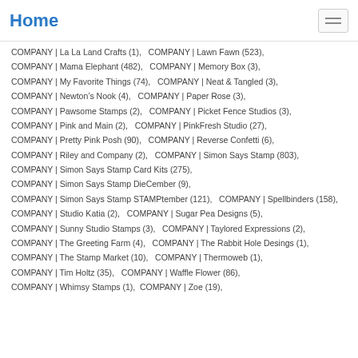Home
COMPANY | La La Land Crafts (1),   COMPANY | Lawn Fawn (523),
COMPANY | Mama Elephant (482),   COMPANY | Memory Box (3),
COMPANY | My Favorite Things (74),   COMPANY | Neat & Tangled (3),
COMPANY | Newton's Nook (4),   COMPANY | Paper Rose (3),
COMPANY | Pawsome Stamps (2),   COMPANY | Picket Fence Studios (3),
COMPANY | Pink and Main (2),   COMPANY | PinkFresh Studio (27),
COMPANY | Pretty Pink Posh (90),   COMPANY | Reverse Confetti (6),
COMPANY | Riley and Company (2),   COMPANY | Simon Says Stamp (803),
COMPANY | Simon Says Stamp Card Kits (275),
COMPANY | Simon Says Stamp DieCember (9),
COMPANY | Simon Says Stamp STAMPtember (121),   COMPANY | Spellbinders (158),
COMPANY | Studio Katia (2),   COMPANY | Sugar Pea Designs (5),
COMPANY | Sunny Studio Stamps (3),   COMPANY | Taylored Expressions (2),
COMPANY | The Greeting Farm (4),   COMPANY | The Rabbit Hole Desings (1),
COMPANY | The Stamp Market (10),   COMPANY | Thermoweb (1),
COMPANY | Tim Holtz (35),   COMPANY | Waffle Flower (86),
COMPANY | Whimsy Stamps (1),  COMPANY | Zoe (19),